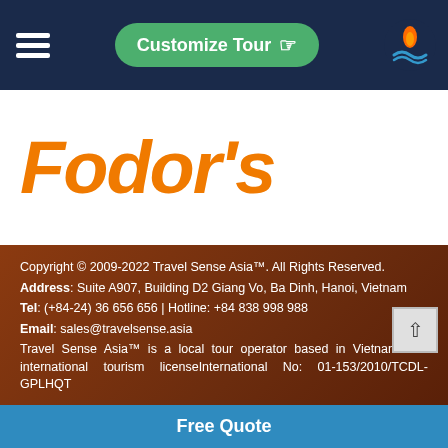[Figure (screenshot): Navigation bar with hamburger menu, green Customize Tour button with hand cursor icon, and flame/wave logo icon on dark navy background]
[Figure (logo): Fodor's logo in large orange bold italic text on white background]
Copyright © 2009-2022 Travel Sense Asia™. All Rights Reserved.
Address: Suite A907, Building D2 Giang Vo, Ba Dinh, Hanoi, Vietnam
Tel: (+84-24) 36 656 656 | Hotline: +84 838 998 988
Email: sales@travelsense.asia
Travel Sense Asia™ is a local tour operator based in Vietnam with international tourism licenseInternational No: 01-153/2010/TCDL-GPLHQT
Free Quote